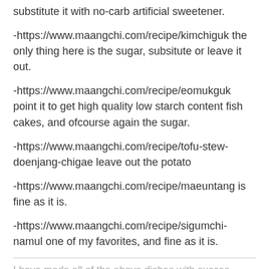substitute it with no-carb artificial sweetener.
-https://www.maangchi.com/recipe/kimchiguk the only thing here is the sugar, subsitute or leave it out.
-https://www.maangchi.com/recipe/eomukguk point it to get high quality low starch content fish cakes, and ofcourse again the sugar.
-https://www.maangchi.com/recipe/tofu-stew-doenjang-chigae leave out the potato
-https://www.maangchi.com/recipe/maeuntang is fine as it is.
-https://www.maangchi.com/recipe/sigumchi-namul one of my favorites, and fine as it is.
I have made all of the above dishes with succes,